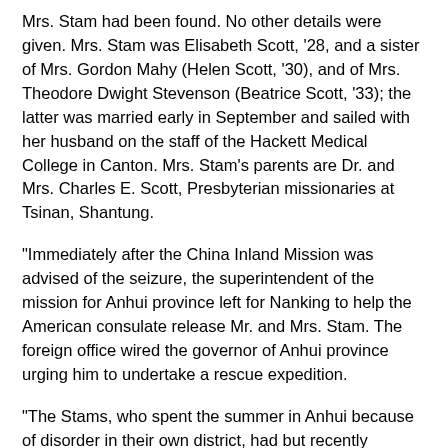Mrs. Stam had been found. No other details were given. Mrs. Stam was Elisabeth Scott, '28, and a sister of Mrs. Gordon Mahy (Helen Scott, '30), and of Mrs. Theodore Dwight Stevenson (Beatrice Scott, '33); the latter was married early in September and sailed with her husband on the staff of the Hackett Medical College in Canton. Mrs. Stam's parents are Dr. and Mrs. Charles E. Scott, Presbyterian missionaries at Tsinan, Shantung.
"Immediately after the China Inland Mission was advised of the seizure, the superintendent of the mission for Anhui province left for Nanking to help the American consulate release Mr. and Mrs. Stam. The foreign office wired the governor of Anhui province urging him to undertake a rescue expedition.
"The Stams, who spent the summer in Anhui because of disorder in their own district, had but recently returned to their station in the town of Tsingteh. This has just been raided by Reds, presumably a portion of those defeated in Kiangsi province and scattered."